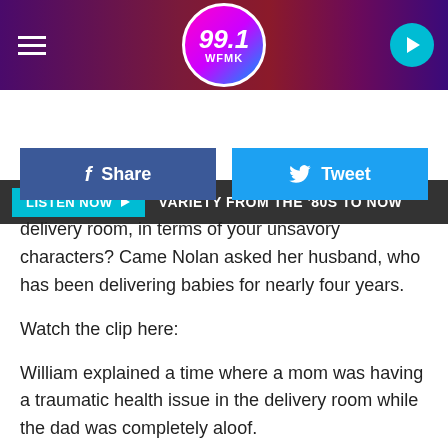99.1 WFMK — LISTEN NOW — VARIETY FROM THE '80S TO NOW
Share   Tweet
delivery room, in terms of your unsavory characters?  Came Nolan asked her husband, who has been delivering babies for nearly four years.
Watch the clip here:
William explained a time where a mom was having a traumatic health issue in the delivery room while the dad was completely aloof.
"Probably the winner is the mom was having a seizure, and the dad didn't stop playing his video games," the doctor said.